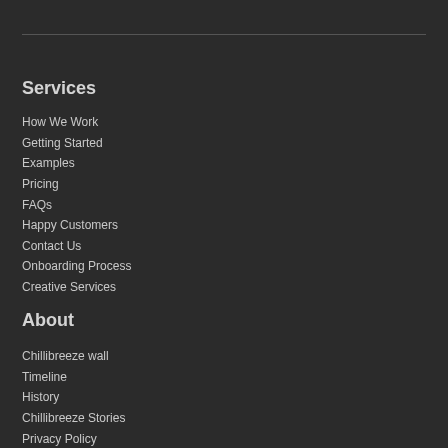Services
How We Work
Getting Started
Examples
Pricing
FAQs
Happy Customers
Contact Us
Onboarding Process
Creative Services
About
Chillibreeze wall
Timeline
History
Chillibreeze Stories
Privacy Policy
Production Stories